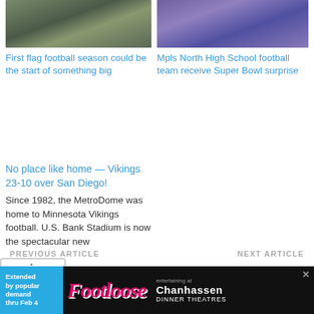[Figure (photo): Football players in dark uniforms on a green field]
[Figure (photo): Football team in purple and gold uniforms grouped together]
First flag football season could be the start of something big
Mpls North High School football team receive Super Bowl surprise
No place like home — Vikings 23-10 over San Diego!
Since 1982, the MetroDome was home to Minnesota Vikings football. U.S. Bank Stadium is now the spectacular new
PREVIOUS ARTICLE
NEXT ARTICLE
'Purple Rain' to 'Dear...
Combate Global Set To Be...
[Figure (infographic): Advertisement for Footloose show at Chanhassen Dinner Theatres. Extended by popular demand thru Feb 4.]